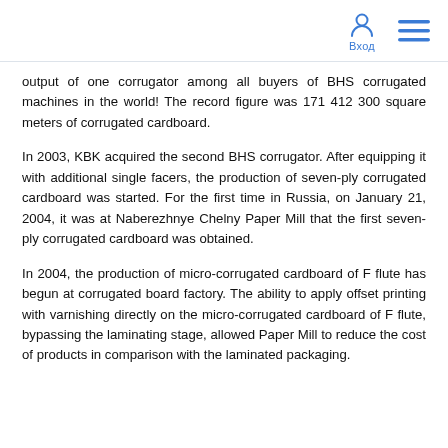Вход
output of one corrugator among all buyers of BHS corrugated machines in the world! The record figure was 171 412 300 square meters of corrugated cardboard.
In 2003, KBK acquired the second BHS corrugator. After equipping it with additional single facers, the production of seven-ply corrugated cardboard was started. For the first time in Russia, on January 21, 2004, it was at Naberezhnye Chelny Paper Mill that the first seven-ply corrugated cardboard was obtained.
In 2004, the production of micro-corrugated cardboard of F flute has begun at corrugated board factory. The ability to apply offset printing with varnishing directly on the micro-corrugated cardboard of F flute, bypassing the laminating stage, allowed Paper Mill to reduce the cost of products in comparison with the laminated packaging.